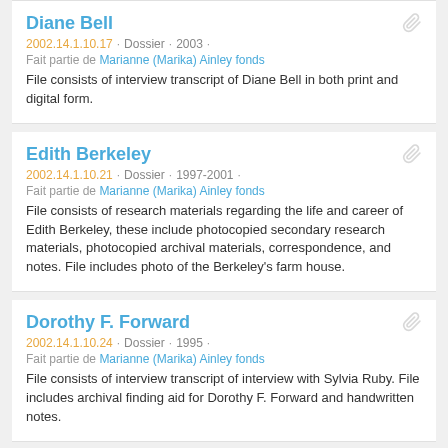Diane Bell
2002.14.1.10.17 · Dossier · 2003 ·
Fait partie de Marianne (Marika) Ainley fonds
File consists of interview transcript of Diane Bell in both print and digital form.
Edith Berkeley
2002.14.1.10.21 · Dossier · 1997-2001 ·
Fait partie de Marianne (Marika) Ainley fonds
File consists of research materials regarding the life and career of Edith Berkeley, these include photocopied secondary research materials, photocopied archival materials, correspondence, and notes. File includes photo of the Berkeley's farm house.
Dorothy F. Forward
2002.14.1.10.24 · Dossier · 1995 ·
Fait partie de Marianne (Marika) Ainley fonds
File consists of interview transcript of interview with Sylvia Ruby. File includes archival finding aid for Dorothy F. Forward and handwritten notes.